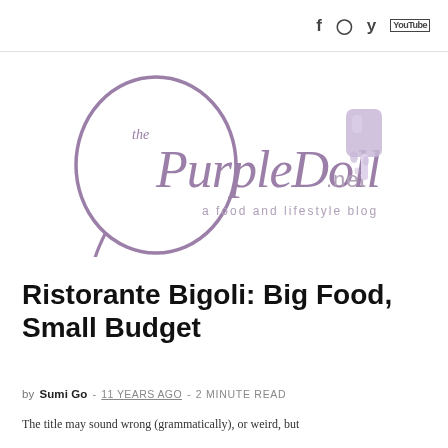Social icons: Facebook, Instagram, Twitter, YouTube
[Figure (logo): The PurpleDoll.net logo — cursive purple script with a purple popsicle/ice cream bar graphic, tagline 'a food and lifestyle blog']
Ristorante Bigoli: Big Food, Small Budget
by Sumi Go - 11 YEARS AGO - 2 MINUTE READ
The title may sound wrong (grammatically), or weird, but